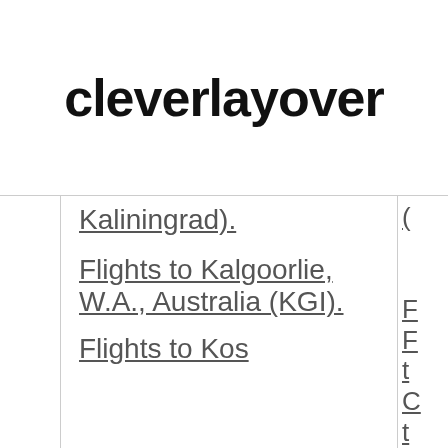cleverlayover
Kaliningrad)
Flights to Kalgoorlie, W.A., Australia (KGI)
Flights to Kos